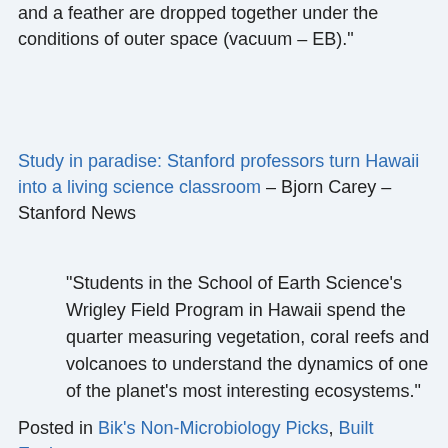and a feather are dropped together under the conditions of outer space (vacuum – EB)."
Study in paradise: Stanford professors turn Hawaii into a living science classroom – Bjorn Carey – Stanford News
"Students in the School of Earth Science's Wrigley Field Program in Hawaii spend the quarter measuring vegetation, coral reefs and volcanoes to understand the dynamics of one of the planet's most interesting ecosystems."
[hr]
Posted in Bik's Non-Microbiology Picks, Built Environment